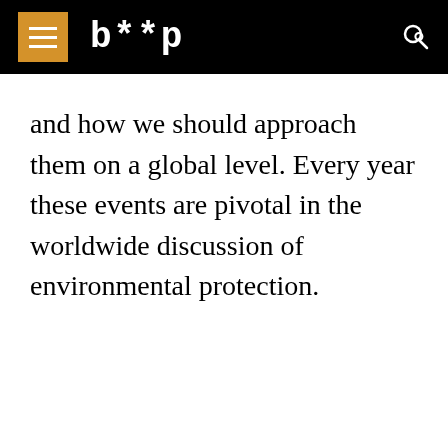b**p
and how we should approach them on a global level. Every year these events are pivotal in the worldwide discussion of environmental protection.